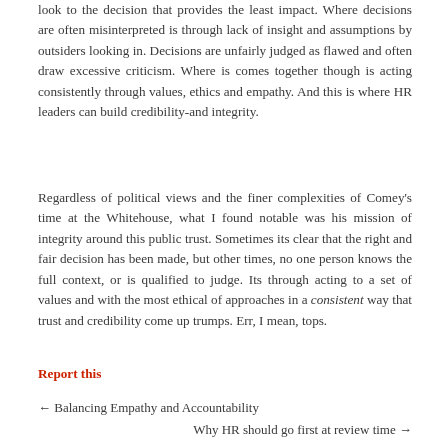look to the decision that provides the least impact. Where decisions are often misinterpreted is through lack of insight and assumptions by outsiders looking in. Decisions are unfairly judged as flawed and often draw excessive criticism. Where is comes together though is acting consistently through values, ethics and empathy. And this is where HR leaders can build credibility-and integrity.
Regardless of political views and the finer complexities of Comey's time at the Whitehouse, what I found notable was his mission of integrity around this public trust. Sometimes its clear that the right and fair decision has been made, but other times, no one person knows the full context, or is qualified to judge. Its through acting to a set of values and with the most ethical of approaches in a consistent way that trust and credibility come up trumps. Err, I mean, tops.
Report this
← Balancing Empathy and Accountability
Why HR should go first at review time →